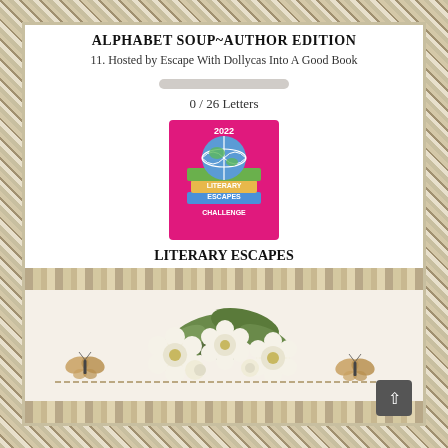ALPHABET SOUP~AUTHOR EDITION
11. Hosted by Escape With Dollycas Into A Good Book
0 / 26 Letters
[Figure (illustration): Pink square badge reading '2022 Literary Escapes Challenge' with colorful stacked books and globe imagery]
LITERARY ESCAPES
13. Hosted by Hosted by Escape With Dollycas Into A Good Book
0 / 51 States
[Figure (illustration): Decorative footer with floral arrangement of white flowers, butterflies, and ornamental striped border]